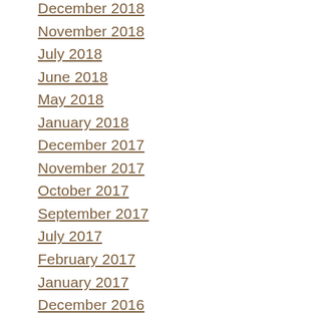December 2018
November 2018
July 2018
June 2018
May 2018
January 2018
December 2017
November 2017
October 2017
September 2017
July 2017
February 2017
January 2017
December 2016
November 2016
April 2016
March 2016
February 2016
January 2016